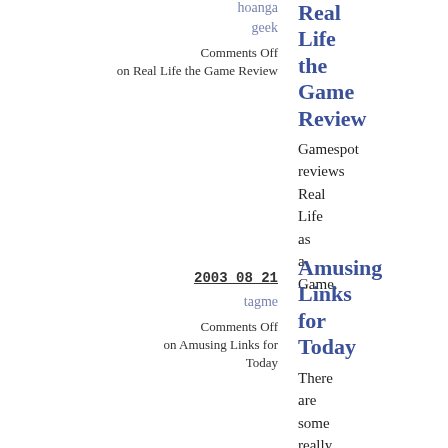hoanga
geek
Comments Off on Real Life the Game Review
Real Life the Game Review
Gamespot reviews Real Life as a Game.
2003_08_21
tagme
Comments Off on Amusing Links for Today
Amusing Links for Today
There are some really